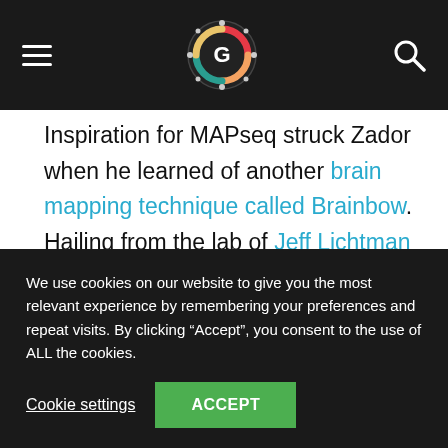[Navigation bar with hamburger menu, logo, and search icon]
Inspiration for MAPseq struck Zador when he learned of another brain mapping technique called Brainbow. Hailing from the lab of Jeff Lichtman at Harvard University, this method was remarkable in that it genetically labeled up to 200 individual neurons simultaneously using different combinations of fluorescent dyes. The results were
We use cookies on our website to give you the most relevant experience by remembering your preferences and repeat visits. By clicking “Accept”, you consent to the use of ALL the cookies.
Cookie settings  ACCEPT